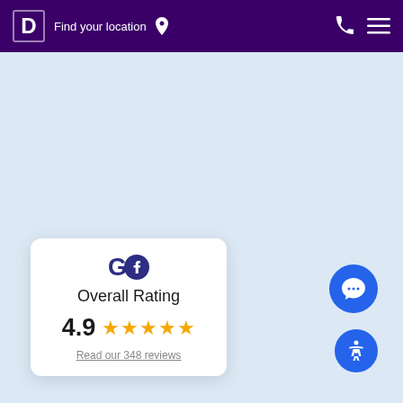D  Find your location
[Figure (screenshot): Light blue background area representing main page content area]
[Figure (infographic): Rating card showing Google and Facebook logos, Overall Rating 4.9 with 5 gold stars, and a link to read 348 reviews]
Overall Rating
4.9
Read our 348 reviews